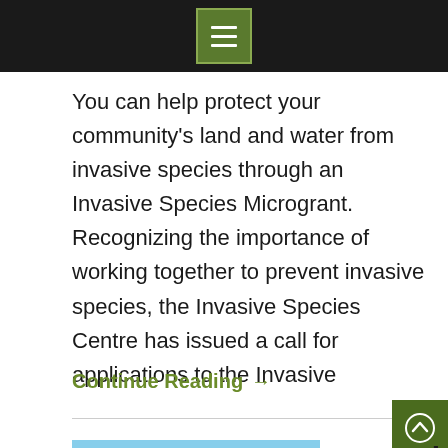Menu navigation bar with hamburger icon
You can help protect your community's land and water from invasive species through an Invasive Species Microgrant. Recognizing the importance of working together to prevent invasive species, the Invasive Species Centre has issued a call for applications to the Invasive
Continue Reading →
[Figure (photo): Outdoor photo showing tall poles or stakes in a field with trees and blue sky in background]
Apply for